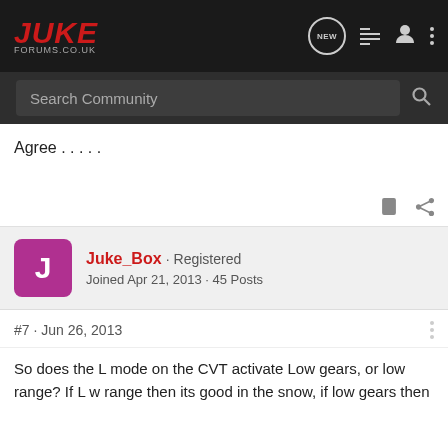JUKE FORUMS.CO.UK
Agree . . . . .
Juke_Box · Registered
Joined Apr 21, 2013 · 45 Posts
#7 · Jun 26, 2013
So does the L mode on the CVT activate Low gears, or low range? If L w range then its good in the snow, if low gears then